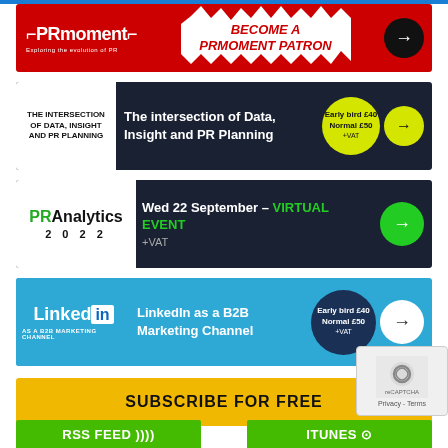[Figure (illustration): PRmoment red banner: 'Become a PRmoment Patron' with logo and arrow button]
[Figure (illustration): Dark navy banner: 'The intersection of Data, Insight and PR Planning' with early bird pricing £40, normal £50 +VAT]
[Figure (illustration): PR Analytics 2022 dark navy banner: 'Wed 22 September – VIRTUAL EVENT +VAT' with green arrow]
[Figure (illustration): LinkedIn blue banner: 'LinkedIn as a B2B Marketing Channel' with early bird £40 normal £50 +VAT]
[Figure (illustration): Yellow 'SUBSCRIBE FOR FREE' banner]
[Figure (illustration): Green RSS FEED button at bottom left]
[Figure (illustration): Green ITUNES button at bottom right]
[Figure (illustration): reCAPTCHA / Privacy - Terms overlay at bottom right corner]